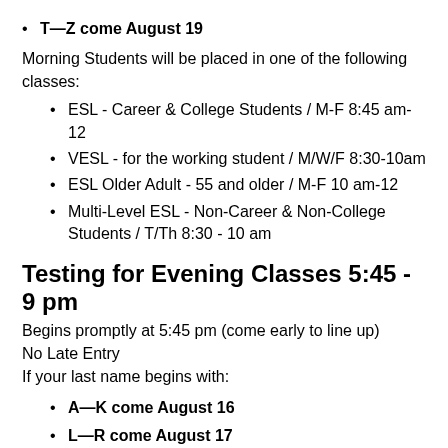T—Z come August 19
Morning Students will be placed in one of the following classes:
ESL - Career & College Students / M-F 8:45 am-12
VESL - for the working student / M/W/F 8:30-10am
ESL Older Adult - 55 and older / M-F 10 am-12
Multi-Level ESL - Non-Career & Non-College Students / T/Th 8:30 - 10 am
Testing for Evening Classes 5:45 - 9 pm
Begins promptly at 5:45 pm (come early to line up)
No Late Entry
If your last name begins with:
A—K come August 16
L—R come August 17
S—Z come August 18